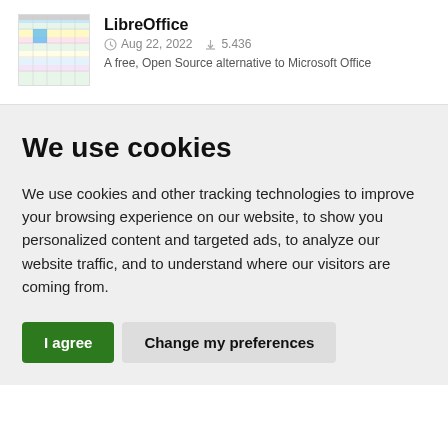[Figure (screenshot): Thumbnail screenshot of LibreOffice application showing a spreadsheet interface with colored cells and toolbars]
LibreOffice
Aug 22, 2022   5.436
A free, Open Source alternative to Microsoft Office
We use cookies
We use cookies and other tracking technologies to improve your browsing experience on our website, to show you personalized content and targeted ads, to analyze our website traffic, and to understand where our visitors are coming from.
I agree
Change my preferences